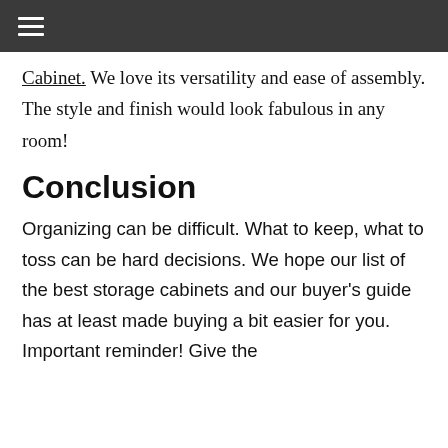☰
Cabinet. We love its versatility and ease of assembly. The style and finish would look fabulous in any room!
Conclusion
Organizing can be difficult. What to keep, what to toss can be hard decisions. We hope our list of the best storage cabinets and our buyer's guide has at least made buying a bit easier for you. Important reminder! Give the